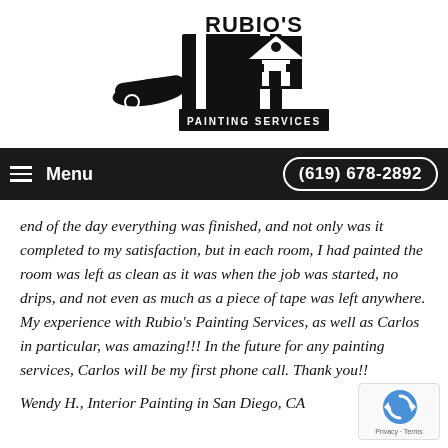[Figure (logo): Rubio's Painting Services logo — black paintbrush and house silhouette with 'RUBIO'S' in bold text above and 'PAINTING SERVICES' on a black banner below]
Menu   (619) 678-2892
end of the day everything was finished, and not only was it completed to my satisfaction, but in each room, I had painted the room was left as clean as it was when the job was started, no drips, and not even as much as a piece of tape was left anywhere. My experience with Rubio's Painting Services, as well as Carlos in particular, was amazing!!! In the future for any painting services, Carlos will be my first phone call. Thank you!!
Wendy H., Interior Painting in San Diego, CA